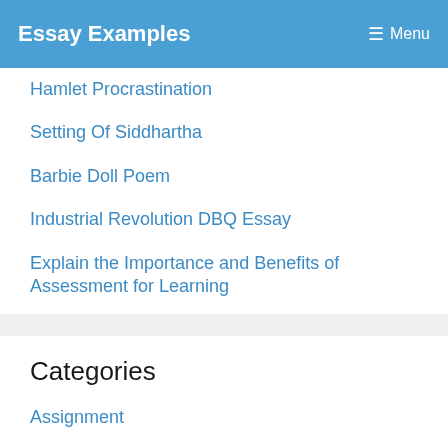Essay Examples  ☰ Menu
Hamlet Procrastination
Setting Of Siddhartha
Barbie Doll Poem
Industrial Revolution DBQ Essay
Explain the Importance and Benefits of Assessment for Learning
Categories
Assignment